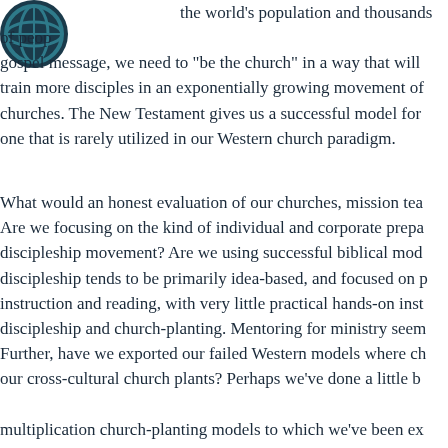[Figure (logo): Circular logo/emblem in teal/dark blue, partially visible at top-left corner]
the world's population and thousands of people groups have never heard the gospel message, we need to "be the church" in a way that will reach and train more disciples in an exponentially growing movement of multiplying churches. The New Testament gives us a successful model for doing this, one that is rarely utilized in our Western church paradigm.

What would an honest evaluation of our churches, mission teams reveal? Are we focusing on the kind of individual and corporate preparation for a discipleship movement? Are we using successful biblical models? Western discipleship tends to be primarily idea-based, and focused on passive instruction and reading, with very little practical hands-on instruction in discipleship and church-planting. Mentoring for ministry seems rare. Further, have we exported our failed Western models where churches exist to our cross-cultural church plants? Perhaps we've done a little better with the multiplication church-planting models to which we've been exposed.